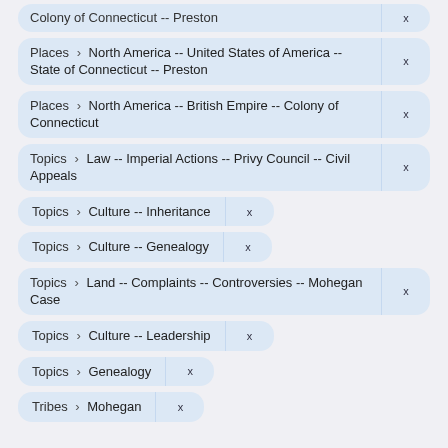Places › North America -- United States of America -- State of Connecticut -- Preston
Places › North America -- British Empire -- Colony of Connecticut
Topics › Law -- Imperial Actions -- Privy Council -- Civil Appeals
Topics › Culture -- Inheritance
Topics › Culture -- Genealogy
Topics › Land -- Complaints -- Controversies -- Mohegan Case
Topics › Culture -- Leadership
Topics › Genealogy
Tribes › Mohegan